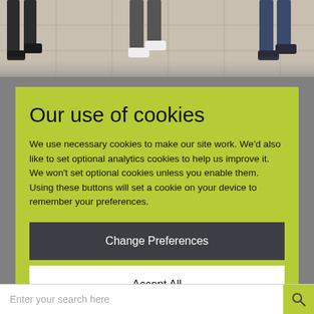[Figure (photo): Background photo showing people's feet and legs walking on a tiled floor, partially visible at the top of the page]
Our use of cookies
We use necessary cookies to make our site work. We'd also like to set optional analytics cookies to help us improve it. We won't set optional cookies unless you enable them. Using these buttons will set a cookie on your device to remember your preferences.
Change Preferences
Accept All
Enter your search here